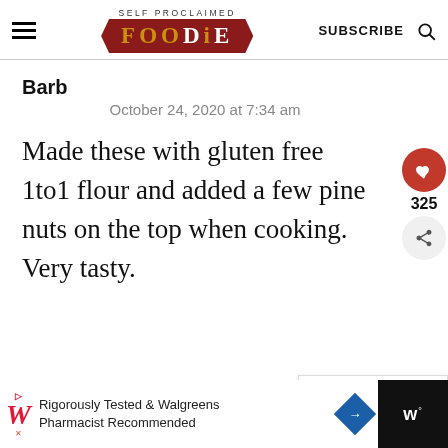SELF PROCLAIMED FOODIE | SUBSCRIBE
Barb
October 24, 2020 at 7:34 am
Made these with gluten free 1to1 flour and added a few pine nuts on the top when cooking. Very tasty.
325
REPLY
WHAT'S NEXT → Lofthouse Cookies
Rigorously Tested & Walgreens Pharmacist Recommended